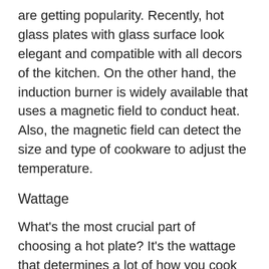are getting popularity. Recently, hot glass plates with glass surface look elegant and compatible with all decors of the kitchen. On the other hand, the induction burner is widely available that uses a magnetic field to conduct heat. Also, the magnetic field can detect the size and type of cookware to adjust the temperature.
Wattage
What's the most crucial part of choosing a hot plate? It's the wattage that determines a lot of how you cook your food. Usually, higher wattage seems good instead of lower wattage. Higher wattage takes less time to get the meal cooked. It's also extremely useful for boiling water. However, higher wattage isn't good always for cooking. A new cook can burn the food